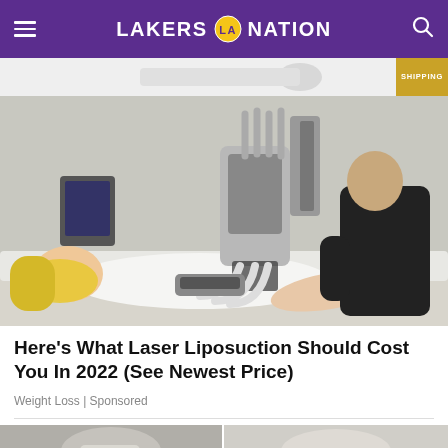LAKERS NATION
[Figure (photo): Advertisement banner partially visible showing a product with 'SHIPPING' label in gold/yellow.]
[Figure (photo): A blonde woman lying on a treatment table receiving a laser liposuction procedure. A medical professional in black clothing operates the machine. The machine has multiple tubes and attachments placed on the woman's abdomen.]
Here's What Laser Liposuction Should Cost You In 2022 (See Newest Price)
Weight Loss | Sponsored
[Figure (photo): Partial bottom strip showing two images side by side, cropped — appears to show people in casual/fashion clothing.]